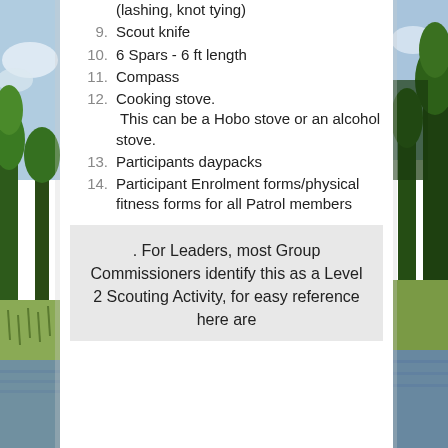[Figure (photo): Left decorative nature photo strip showing outdoor landscape with trees, sky, and water/marsh]
[Figure (photo): Right decorative nature photo strip showing outdoor landscape with trees]
(lashing, knot tying)
9. Scout knife
10. 6 Spars - 6 ft length
11. Compass
12. Cooking stove. This can be a Hobo stove or an alcohol stove.
13. Participants daypacks
14. Participant Enrolment forms/physical fitness forms for all Patrol members
. For Leaders, most Group Commissioners identify this as a Level 2 Scouting Activity, for easy reference here are